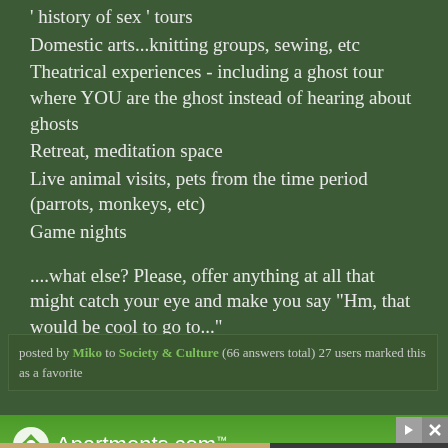history of sex tours
Domestic arts...knitting groups, sewing, etc
Theatrical experiences - including a ghost tour where YOU are the ghost instead of hearing about ghosts
Retreat, meditation space
Live animal visits, pets from the time period (parrots, monkeys, etc)
Game nights
....what else? Please, offer anything at all that might catch your eye and make you say "Hm, that would be cool to go to..."
posted by Miko to Society & Culture (66 answers total) 27 users marked this as a favorite
[Figure (other): Apartments.com advertisement banner with green gradient background and logo]